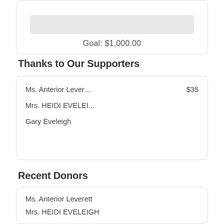Goal: $1,000.00
Thanks to Our Supporters
Ms. Anterior Lever... $35
Mrs. HEIDI EVELEI...
Gary Eveleigh
Recent Donors
Ms. Anterior Leverett
Mrs. HEIDI EVELEIGH